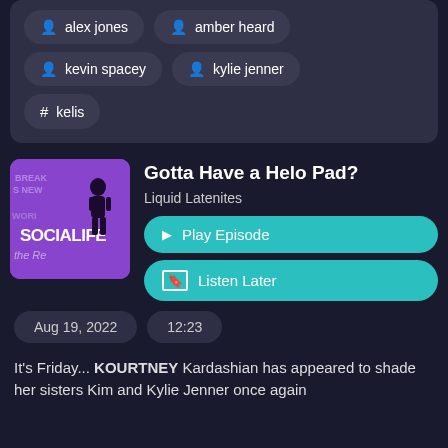alex jones
amber heard
kevin spacey
kylie jenner
# kelis
Gotta Have a Helo Pad?
Liquid Latenites
▶ Play Episode
🔖 Listen Later
Aug 19, 2022
12:23
It's Friday... KOURTNEY Kardashian has appeared to shade her sisters Kim and Kylie Jenner once again